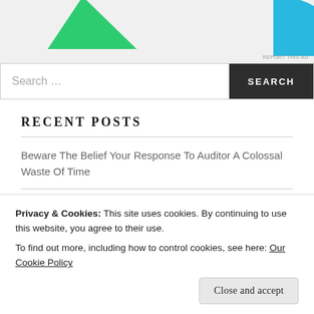[Figure (illustration): Advertisement banner with green triangle and cyan/blue arc shapes on light gray background, with 'REPORT THIS AD' label in bottom-right corner.]
Search …
RECENT POSTS
Beware The Belief Your Response To Auditor A Colossal Waste Of Time
Design Contracts Imposing Duties Beyond Ordinary Care
Privacy & Cookies: This site uses cookies. By continuing to use this website, you agree to their use.
To find out more, including how to control cookies, see here: Our Cookie Policy
Close and accept
on Legal Profession